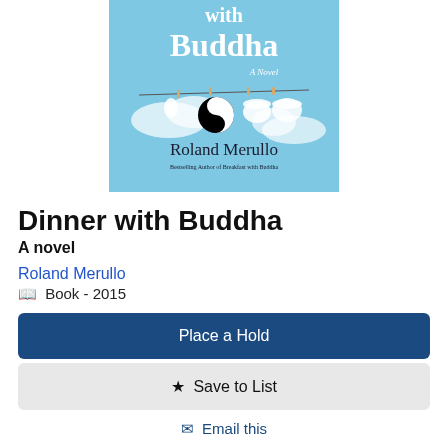[Figure (illustration): Book cover of 'Dinner with Buddha' by Roland Merullo. Light blue background with text 'with Buddha' and 'A Novel' at top. A clothesline with a yin-yang symbol, a teacup, and other items hanging from pegs. Author name 'Roland Merullo' and 'Bestselling Author of Breakfast with Buddha' at bottom.]
Dinner with Buddha
A novel
Roland Merullo
Book - 2015
Place a Hold
Save to List
Email this